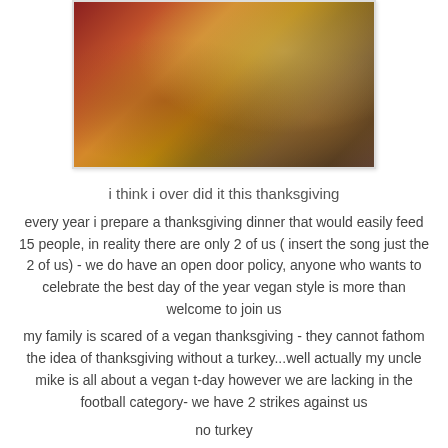[Figure (photo): Thanksgiving food photo showing a pie or dish with autumn decorations, leaves, and warm tones on a wooden surface]
i think i over did it this thanksgiving
every year i prepare a thanksgiving dinner that would easily feed 15 people, in reality there are only 2 of us ( insert the song just the 2 of us) - we do have an open door policy, anyone who wants to celebrate the best day of the year vegan style is more than welcome to join us
my family is scared of a vegan thanksgiving - they cannot fathom the idea of thanksgiving without a turkey...well actually my uncle mike is all about a vegan t-day however we are lacking in the football category- we have 2 strikes against us
no turkey
no cable for football